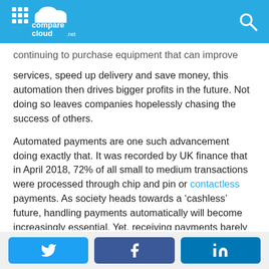comparecloud.net
continuing to purchase equipment that can improve services, speed up delivery and save money, this automation then drives bigger profits in the future. Not doing so leaves companies hopelessly chasing the success of others.
Automated payments are one such advancement doing exactly that. It was recorded by UK finance that in April 2018, 72% of all small to medium transactions were processed through chip and pin or contactless payments. As society heads towards a ‘cashless’ future, handling payments automatically will become increasingly essential. Yet, receiving payments barely scratches the surfaces of this automation.
Twitter | Facebook | LinkedIn social share buttons